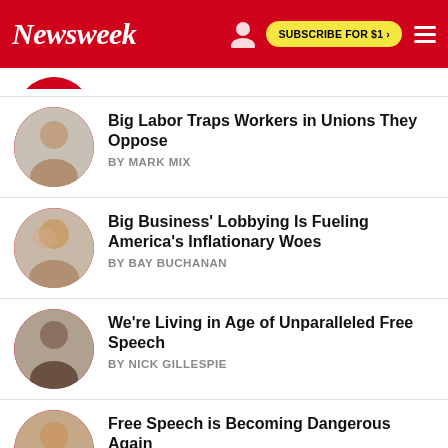Newsweek | SUBSCRIBE FOR $1 >
Big Labor Traps Workers in Unions They Oppose | BY MARK MIX
Big Business' Lobbying Is Fueling America's Inflationary Woes | BY BAY BUCHANAN
We're Living in Age of Unparalleled Free Speech | BY NICK GILLESPIE
Free Speech is Becoming Dangerous Again | BY BROOKE GOLDSTEIN
Biden's Philly Speech Shows a Man and Party Renewed—and Ready to Fight